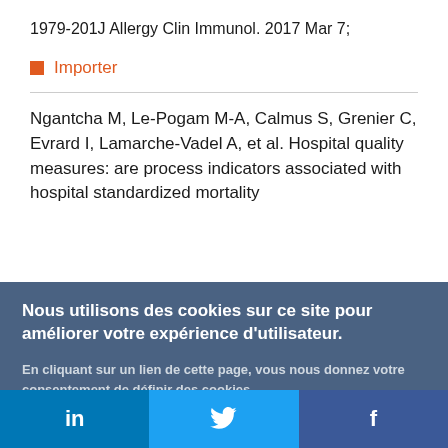1979-201J Allergy Clin Immunol. 2017 Mar 7;
Importer
Ngantcha M, Le-Pogam M-A, Calmus S, Grenier C, Evrard I, Lamarche-Vadel A, et al. Hospital quality measures: are process indicators associated with hospital standardized mortality
Nous utilisons des cookies sur ce site pour améliorer votre expérience d'utilisateur. En cliquant sur un lien de cette page, vous nous donnez votre consentement de définir des cookies.
Oui, je suis d'accord | Plus d'infos